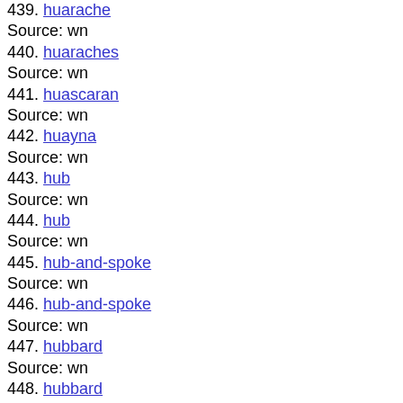439. huarache
Source: wn
440. huaraches
Source: wn
441. huascaran
Source: wn
442. huayna
Source: wn
443. hub
Source: wn
444. hub
Source: wn
445. hub-and-spoke
Source: wn
446. hub-and-spoke
Source: wn
447. hubbard
Source: wn
448. hubbard
Source: wn
449. hubble
Source: wn
450. hubble
Source: wn
451. hubble
Source: wn
452. hubble
Source: wn
453. hubble's
Source: wn
454. hubble's
Source: wn
455. hubble's